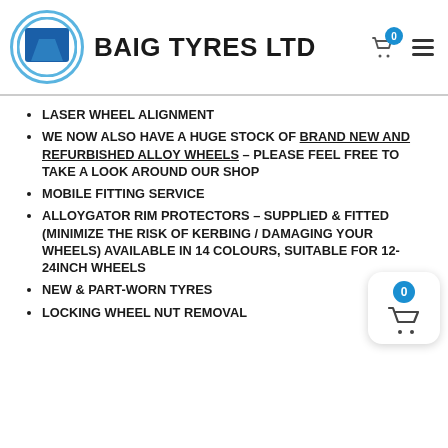BAIG TYRES LTD
LASER WHEEL ALIGNMENT
WE NOW ALSO HAVE A HUGE STOCK OF BRAND NEW AND REFURBISHED ALLOY WHEELS – PLEASE FEEL FREE TO TAKE A LOOK AROUND OUR SHOP
MOBILE FITTING SERVICE
ALLOYGATOR RIM PROTECTORS – SUPPLIED & FITTED (MINIMIZE THE RISK OF KERBING / DAMAGING YOUR WHEELS) AVAILABLE IN 14 COLOURS, SUITABLE FOR 12-24INCH WHEELS
NEW & PART-WORN TYRES
LOCKING WHEEL NUT REMOVAL